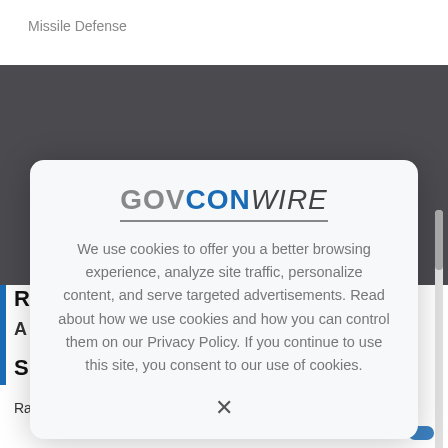Missile Defense
[Figure (screenshot): Dark grey banner background from a website (GovConWire)]
[Figure (other): GovConWire cookie consent modal dialog with logo, cookie notice text, and X close button]
We use cookies to offer you a better browsing experience, analyze site traffic, personalize content, and serve targeted advertisements. Read about how we use cookies and how you can control them on our Privacy Policy. If you continue to use this site, you consent to our use of cookies.
Raytheon Technologies' (NYSE: RTX) Pratt & Whitney